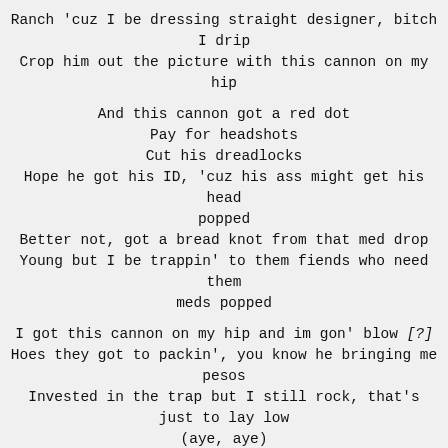Ranch 'cuz I be dressing straight designer, bitch I drip
Crop him out the picture with this cannon on my hip

And this cannon got a red dot
Pay for headshots
Cut his dreadlocks
Hope he got his ID, 'cuz his ass might get his head popped
Better not, got a bread knot from that med drop
Young but I be trappin' to them fiends who need them meds popped

I got this cannon on my hip and im gon' blow [?]
Hoes they got to packin', you know he bringing me pesos
Invested in the trap but I still rock, that's just to lay low
(aye, aye)
Mix drugs with faygo
'Cuz I still be livin' fast and hittin' licks and kicking doors
Bitches hit my phone when I got cheese man I be mixin' hoes
And I got designer Gucci, Prada I be mixin' clothes
50s and them 20s and them blue strips I be mixin' doughs